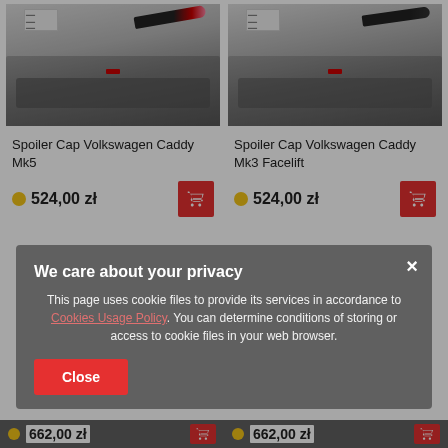[Figure (photo): Product image of Spoiler Cap Volkswagen Caddy Mk5 - showing spoiler part and installed on car roof]
[Figure (photo): Product image of Spoiler Cap Volkswagen Caddy Mk3 Facelift - showing spoiler part and installed on car roof]
Spoiler Cap Volkswagen Caddy Mk5
524,00 zł
Spoiler Cap Volkswagen Caddy Mk3 Facelift
524,00 zł
We care about your privacy
This page uses cookie files to provide its services in accordance to Cookies Usage Policy. You can determine conditions of storing or access to cookie files in your web browser.
Close
662,00 zł
662,00 zł